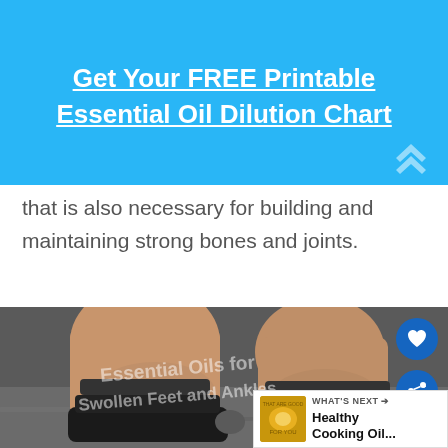Get Your FREE Printable Essential Oil Dilution Chart
that is also necessary for building and maintaining strong bones and joints.
[Figure (photo): Photo of swollen feet and ankles wearing black orthopedic sandals with velcro straps, standing on pavement. Watermark text reads: Essential Oils for Swollen Feet and Ankles]
138
WHAT'S NEXT → Healthy Cooking Oil...